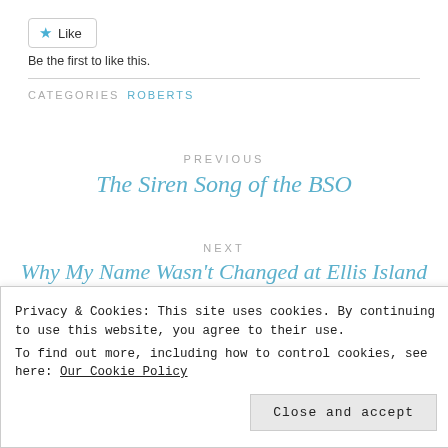[Figure (other): Like button with blue star icon and 'Like' text, bordered button]
Be the first to like this.
CATEGORIES  ROBERTS
PREVIOUS
The Siren Song of the BSO
NEXT
Why My Name Wasn't Changed at Ellis Island (And
Privacy & Cookies: This site uses cookies. By continuing to use this website, you agree to their use.
To find out more, including how to control cookies, see here: Our Cookie Policy
Close and accept